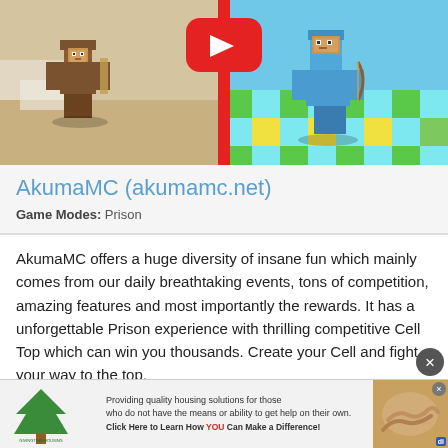[Figure (screenshot): Minecraft server promotional screenshot showing two blocky player characters — one brown on a snowy/sandy scene left, one blue armored on a colorful checkerboard floor right — split by a red YouTube play button divider in the center.]
AkumaMC (akumamc.net)
Game Modes: Prison
AkumaMC offers a huge diversity of insane fun which mainly comes from our daily breathtaking events, tons of competition, amazing features and most importantly the rewards. It has a unforgettable Prison experience with thrilling competitive Cell Top which can win you thousands. Create your Cell and fight your way to the top.
Connect to this Minecraft 1.8.8 server using the ip...
[Figure (screenshot): Advertisement banner for GivingTreeHousing — tree logo on left, text about providing quality housing solutions in center, photo of hands holding on right, with di badge and close buttons.]